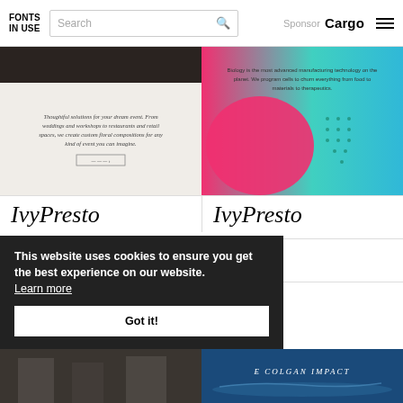FONTS IN USE | Search | Sponsor Cargo
[Figure (screenshot): Left preview: floral event website with cream background and italic text about dream events]
[Figure (screenshot): Right preview: biotech website with pink and teal gradient, text about biology manufacturing]
IvyPresto
IvyPresto
Degular
Sofia
Sweet Gothic
[Figure (screenshot): Bottom left: dark moody photo]
[Figure (screenshot): Bottom right: blue ocean photo with text 'E COLGAN IMPACT']
This website uses cookies to ensure you get the best experience on our website. Learn more
Got it!